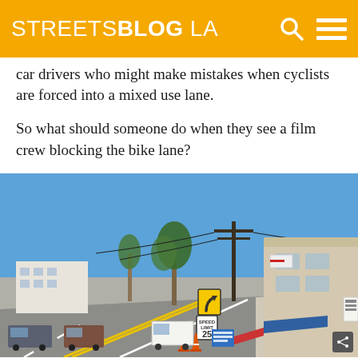STREETSBLOG LA
car drivers who might make mistakes when cyclists are forced into a mixed use lane.
So what should someone do when they see a film crew blocking the bike lane?
[Figure (photo): Street-level photo of a city road with a bike lane blocked by traffic cones and film crew equipment. A utility pole with power lines, a yellow curve warning sign, a 25 mph speed limit sign, and a bicycle lane sign are visible. Buildings line the right side of the street. Trees and a clear blue sky are in the background.]